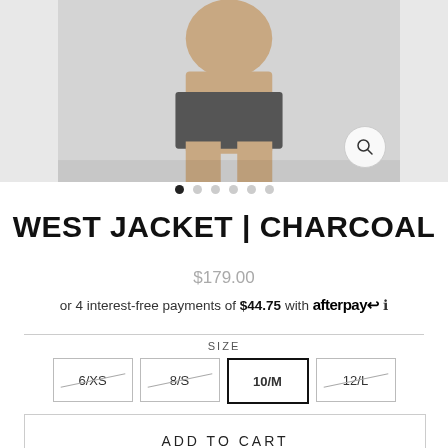[Figure (photo): Product photo of West Jacket in Charcoal color, showing a model wearing dark charcoal shorts/jacket, cropped at upper thighs. Left and right side panels show partial images. A magnify/search icon is visible in the bottom right of the main image.]
● ○ ○ ○ ○ ○ (carousel dots, first active)
WEST JACKET | CHARCOAL
$179.00
or 4 interest-free payments of $44.75 with afterpay ℹ
SIZE
6/XS  8/S  10/M  12/L
ADD TO CART